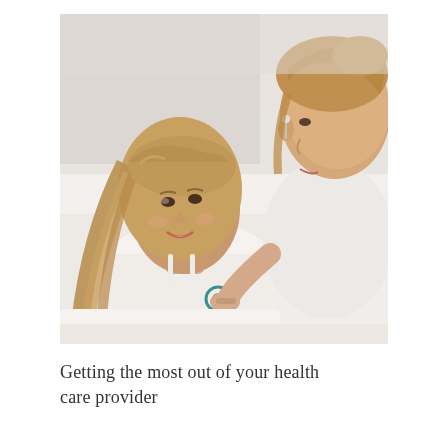[Figure (photo): A smiling young girl with long blonde hair lying on a white pillow/bed, wearing a white top, while a female healthcare provider with blonde hair (wearing a white top and stethoscope earpieces) uses a teal stethoscope to listen to the girl's chest. The background is white/light.]
Getting the most out of your health care provider